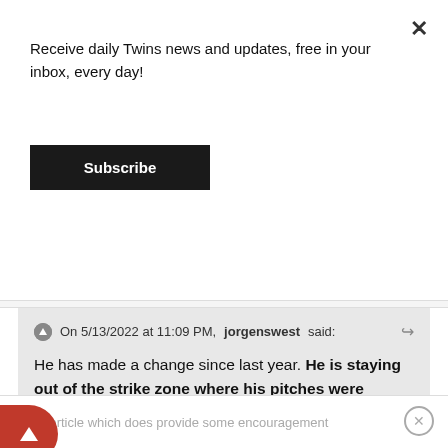Receive daily Twins news and updates, free in your inbox, every day!
Subscribe
Posted May 14
On 5/13/2022 at 11:09 PM, jorgenswest said:
He has made a change since last year. He is staying out of the strike zone where his pitches were clobbered the last two years. The result is more walks. It was a necessary trade off. He gives up too much hard contact when in the strike zone.
Good article which does provide some encouragement